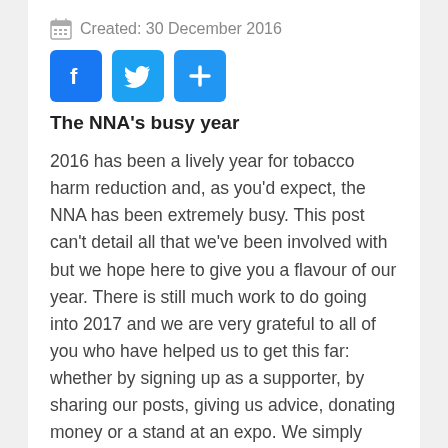Created: 30 December 2016
[Figure (other): Social media sharing buttons: Facebook (f), Twitter (bird), and a plus/add button]
The NNA's busy year
2016 has been a lively year for tobacco harm reduction and, as you'd expect, the NNA has been extremely busy. This post can't detail all that we've been involved with but we hope here to give you a flavour of our year. There is still much work to do going into 2017 and we are very grateful to all of you who have helped us to get this far: whether by signing up as a supporter, by sharing our posts, giving us advice, donating money or a stand at an expo. We simply cannot do what we do without your help. Thank you. No matter what skill set you have you can be an asset to the NNA, so please drop